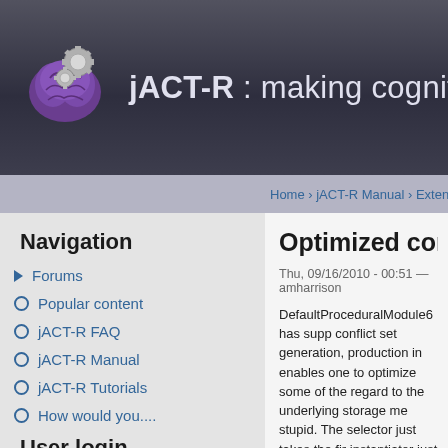jACT-R : making cognitive m
Home › jACT-R Manual › Extensions › P
Navigation
Forums
Popular content
jACT-R FAQ
jACT-R Manual
jACT-R Tutorials
How would you....
User login
Username *
Password *
Optimized conflict reso
Thu, 09/16/2010 - 00:51 — amharrison
DefaultProceduralModule6 has supp conflict set generation, production in enables one to optimize some of the regard to the underlying storage me stupid. The selector just takes the fir instantiator just attempts a blind inst contents. The conflict set generator (based on the chunktypes in buffers
Given that performance profiling has expensive phase (given that so man